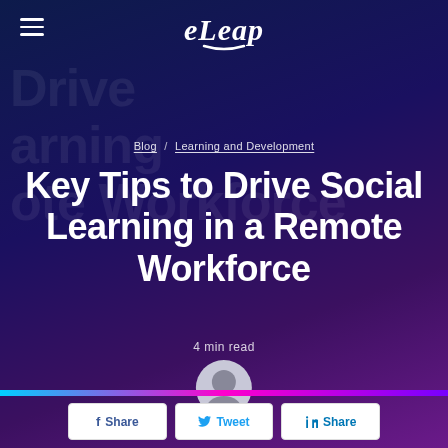eLeap
Blog / Learning and Development
Key Tips to Drive Social Learning in a Remote Workforce
4 min read
Oliver Lucas
f Share  Tweet  in Share